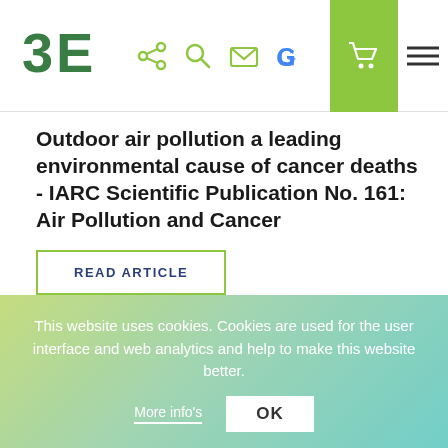[Figure (logo): BE logo — two stylized 'B' and 'E' letters in dark green, bold]
[Figure (infographic): Navigation bar icons: share, search, email, Google, cart (green background), hamburger menu]
Outdoor air pollution a leading environmental cause of cancer deaths - IARC Scientific Publication No. 161: Air Pollution and Cancer
READ ARTICLE
DOWNLOAD THE COMPLETE JOURNAL
This website uses cookies. Cookies are used for the user interface and web analytics and help to make this website better.
More info's
OK